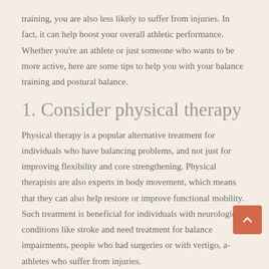training, you are also less likely to suffer from injuries. In fact, it can help boost your overall athletic performance. Whether you're an athlete or just someone who wants to be more active, here are some tips to help you with your balance training and postural balance.
1. Consider physical therapy
Physical therapy is a popular alternative treatment for individuals who have balancing problems, and not just for improving flexibility and core strengthening. Physical therapists are also experts in body movement, which means that they can also help restore or improve functional mobility. Such treatment is beneficial for individuals with neurological conditions like stroke and need treatment for balance impairments, people who had surgeries or with vertigo, and athletes who suffer from injuries.